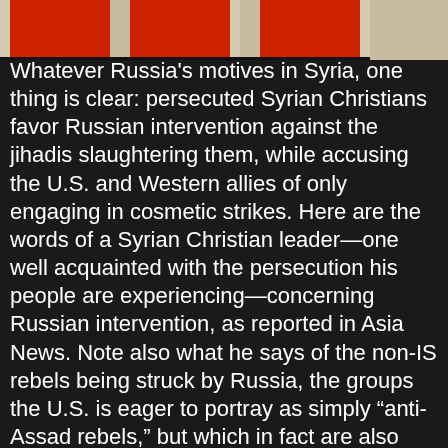[Figure (photo): Partial image at top showing figures in red clothing on light background, cropped at bottom edge.]
Whatever Russia's motives in Syria, one thing is clear: persecuted Syrian Christians favor Russian intervention against the jihadis slaughtering them, while accusing the U.S. and Western allies of only engaging in cosmetic strikes.  Here are the words of a Syrian Christian leader—one well acquainted with the persecution his people are experiencing—concerning Russian intervention, as reported in Asia News.  Note also what he says of the non-IS rebels being struck by Russia, the groups the U.S. is eager to portray as simply “anti-Assad rebels,” but which in fact are also Christian-slaughtering jihadis:
Damascus (AsiaNews)—US air strikes in Syria are window-dressing, and have little real effect on the militias of the Islamic state (IS), who are left free to act on the ground. Instead the Russian attacks in recent days have been effective, forcing jihadists to